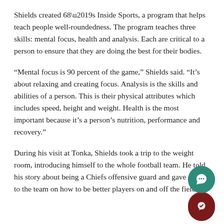Shields created 68’s Inside Sports, a program that helps teach people well-roundedness. The program teaches three skills: mental focus, health and analysis. Each are critical to a person to ensure that they are doing the best for their bodies.
“Mental focus is 90 percent of the game,” Shields said. “It’s about relaxing and creating focus. Analysis is the skills and abilities of a person. This is their physical attributes which includes speed, height and weight. Health is the most important because it’s a person’s nutrition, performance and recovery.”
During his visit at Tonka, Shields took a trip to the weight room, introducing himself to the whole football team. He told his story about being a Chiefs offensive guard and gave advice to the team on how to be better players on and off the field.